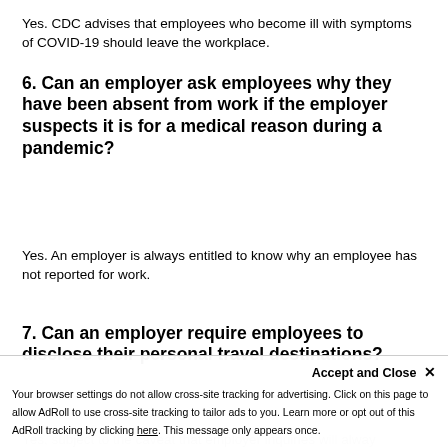Yes. CDC advises that employees who become ill with symptoms of COVID-19 should leave the workplace.
6. Can an employer ask employees why they have been absent from work if the employer suspects it is for a medical reason during a pandemic?
Yes. An employer is always entitled to know why an employee has not reported for work.
7. Can an employer require employees to disclose their personal travel destinations?
Yes, subject to the caveat that employer inquiries will always...
Your browser settings do not allow cross-site tracking for advertising. Click on this page to allow AdRoll to use cross-site tracking to tailor ads to you. Learn more or opt out of this AdRoll tracking by clicking here. This message only appears once.